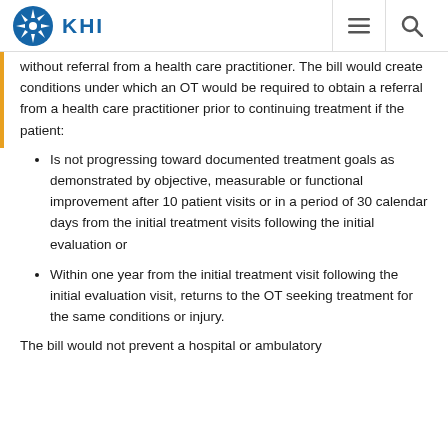KHI
without referral from a health care practitioner. The bill would create conditions under which an OT would be required to obtain a referral from a health care practitioner prior to continuing treatment if the patient:
Is not progressing toward documented treatment goals as demonstrated by objective, measurable or functional improvement after 10 patient visits or in a period of 30 calendar days from the initial treatment visits following the initial evaluation or
Within one year from the initial treatment visit following the initial evaluation visit, returns to the OT seeking treatment for the same conditions or injury.
The bill would not prevent a hospital or ambulatory